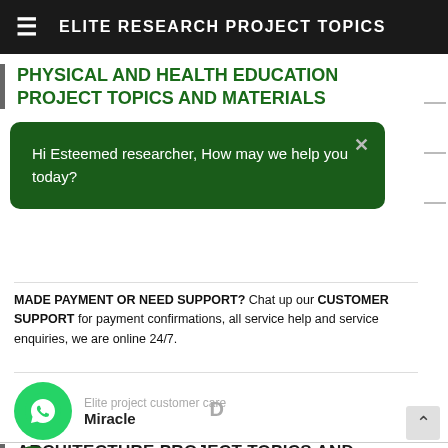ELITE RESEARCH PROJECT TOPICS
PHYSICAL AND HEALTH EDUCATION PROJECT TOPICS AND MATERIALS
Hi Esteemed researcher, How may we help you today?
MADE PAYMENT OR NEED SUPPORT? Chat up our CUSTOMER SUPPORT for payment confirmations, all service help and service enquiries, we are online 24/7.
Elite project customer care
Miracle
ARCHITECTURE PROJECT TOPICS AND MATERIALS
AVIATION PROJECT TOPICS AND MATERIALS